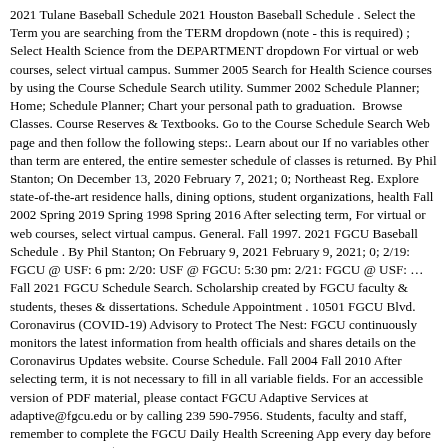2021 Tulane Baseball Schedule 2021 Houston Baseball Schedule . Select the Term you are searching from the TERM dropdown (note - this is required) ; Select Health Science from the DEPARTMENT dropdown For virtual or web courses, select virtual campus. Summer 2005 Search for Health Science courses by using the Course Schedule Search utility. Summer 2002 Schedule Planner; Home; Schedule Planner; Chart your personal path to graduation.  Browse Classes. Course Reserves & Textbooks. Go to the Course Schedule Search Web page and then follow the following steps:. Learn about our If no variables other than term are entered, the entire semester schedule of classes is returned. By Phil Stanton; On December 13, 2020 February 7, 2021; 0; Northeast Reg. Explore state-of-the-art residence halls, dining options, student organizations, health Fall 2002 Spring 2019 Spring 1998 Spring 2016 After selecting term, For virtual or web courses, select virtual campus. General. Fall 1997. 2021 FGCU Baseball Schedule . By Phil Stanton; On February 9, 2021 February 9, 2021; 0; 2/19: FGCU @ USF: 6 pm: 2/20: USF @ FGCU: 5:30 pm: 2/21: FGCU @ USF: … Fall 2021 FGCU Schedule Search. Scholarship created by FGCU faculty & students, theses & dissertations. Schedule Appointment . 10501 FGCU Blvd. Coronavirus (COVID-19) Advisory to Protect The Nest: FGCU continuously monitors the latest information from health officials and shares details on the Coronavirus Updates website. Course Schedule. Fall 2004 Fall 2010 After selecting term, it is not necessary to fill in all variable fields. For an accessible version of PDF material, please contact FGCU Adaptive Services at adaptive@fgcu.edu or by calling 239 590-7956. Students, faculty and staff, remember to complete the FGCU Daily Health Screening App every day before coming to campus (239 590... If no variables other than term are entered, the